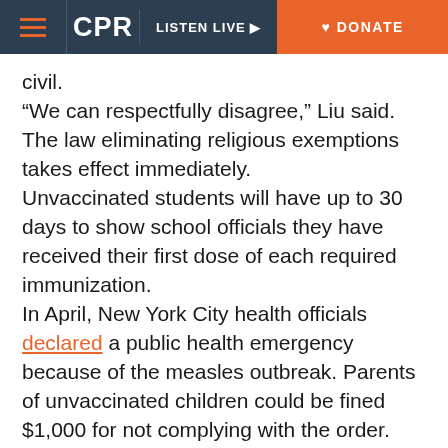CPR | LISTEN LIVE | DONATE
civil.
“We can respectfully disagree,” Liu said.
The law eliminating religious exemptions takes effect immediately.
Unvaccinated students will have up to 30 days to show school officials they have received their first dose of each required immunization.
In April, New York City health officials declared a public health emergency because of the measles outbreak. Parents of unvaccinated children could be fined $1,000 for not complying with the order.